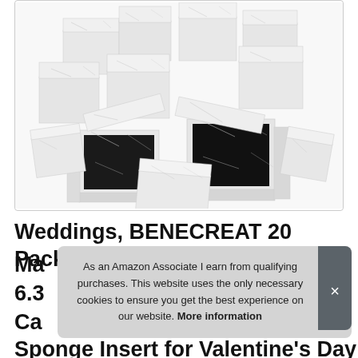[Figure (photo): Stack of marble-patterned gift boxes, some open showing black interior lining]
Weddings, BENECREAT 20 Pack Ma 6.3 Ca Sponge Insert for Valentine's Day
As an Amazon Associate I earn from qualifying purchases. This website uses the only necessary cookies to ensure you get the best experience on our website. More information